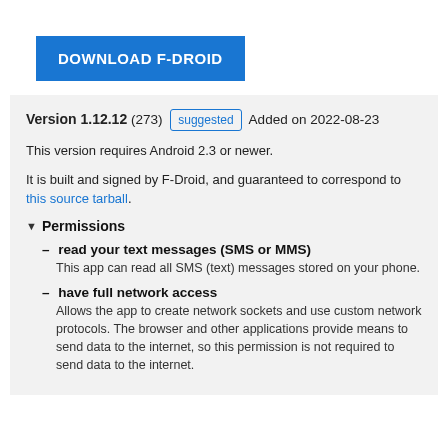DOWNLOAD F-DROID
Version 1.12.12 (273) suggested Added on 2022-08-23
This version requires Android 2.3 or newer.
It is built and signed by F-Droid, and guaranteed to correspond to this source tarball.
▼ Permissions
read your text messages (SMS or MMS)
This app can read all SMS (text) messages stored on your phone.
have full network access
Allows the app to create network sockets and use custom network protocols. The browser and other applications provide means to send data to the internet, so this permission is not required to send data to the internet.